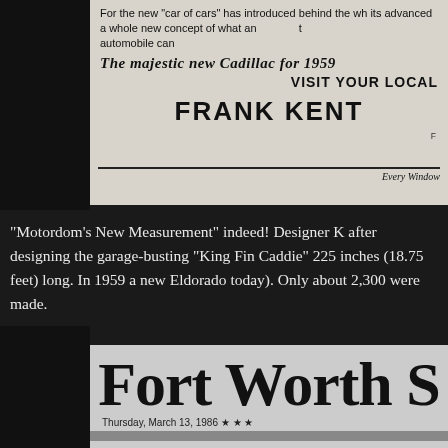[Figure (photo): Scanned newspaper advertisement clipping showing text about the 1959 Cadillac, including the italic headline 'The majestic new Cadillac for 1959', 'VISIT YOUR LOCAL', and 'FRANK KENT' dealership name, with a rule line and 'Every Window' text at bottom.]
“Motordom’s New Measurement” indeed! Designer K after designing the garage-busting “King Fin Caddie” 225 inches (18.75 feet) long. In 1959 a new Eldorado today). Only about 2,300 were made.
[Figure (photo): Scanned newspaper masthead for 'Fort Worth S[tar-Telegram]' dated Thursday, March 13, 1986, with three stars, followed by a gray rule band and the beginning of a headline reading 'As blast hit, ‘I thought l…']